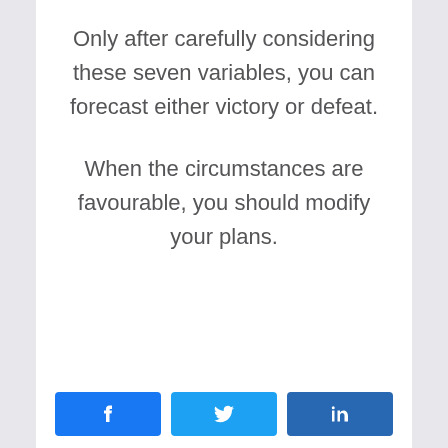Only after carefully considering these seven variables, you can forecast either victory or defeat.
When the circumstances are favourable, you should modify your plans.
[Figure (infographic): Social share buttons: Facebook, Twitter, LinkedIn]